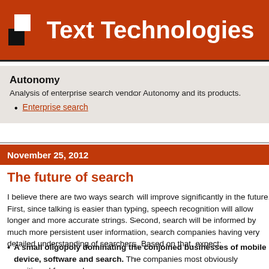Text Technologies
Autonomy
Analysis of enterprise search vendor Autonomy and its products.
Enterprise search
November 25, 2012
The future of search
I believe there are two ways search will improve significantly in the future. First, since talking is easier than typing, speech recognition will allow longer and more accurate strings. Second, search will be informed by much more persistent user information, search companies having very detailed understanding of searchers. Based on that, expect:
A small oligopoly dominating the conjoined businesses of mobile device, software and search. The companies most obviously positioned for member